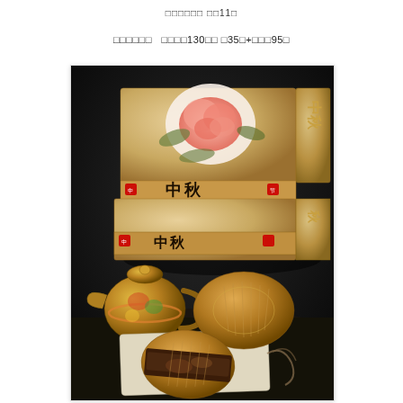□□□□□□ □□11□
□□□□□□  □□□□130□□ □35□+□□□95□
[Figure (photo): Photo of Mid-Autumn Festival mooncake gift boxes with Chinese calligraphy, stacked boxes decorated with peony flowers, alongside a traditional yellow teapot and mooncakes on a cutting board, dark background]